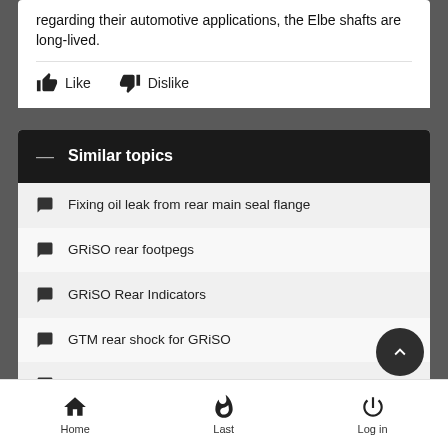regarding their automotive applications, the Elbe shafts are long-lived.
Like
Dislike
Similar topics
Fixing oil leak from rear main seal flange
GRiSO rear footpegs
GRiSO Rear Indicators
GTM rear shock for GRiSO
International Motorcycle Festival in Zonguldak
Home   Last   Log in